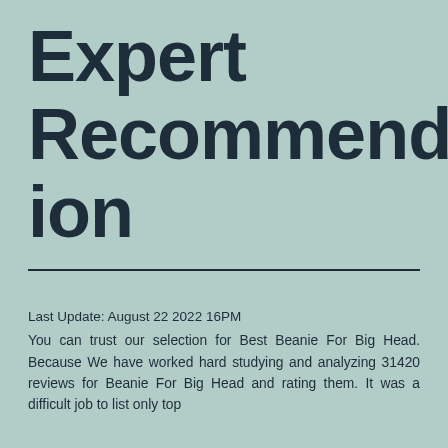Expert Recommendation
Last Update: August 22 2022 16PM
You can trust our selection for Best Beanie For Big Head. Because We have worked hard studying and analyzing 31420 reviews for Beanie For Big Head and rating them. It was a difficult job to list only top